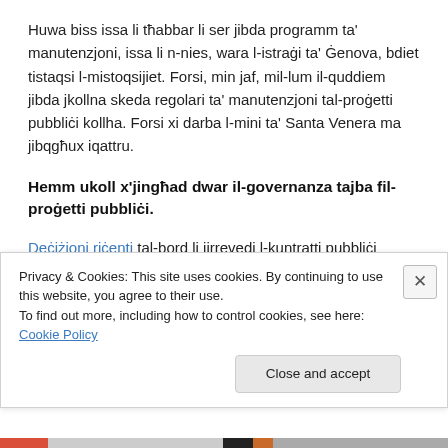Huwa biss issa li tħabbar li ser jibda programm ta' manutenzjoni, issa li n-nies, wara l-istraġi ta' Ġenova, bdiet tistaqsi l-mistoqsijiet. Forsi, min jaf, mil-lum il-quddiem jibda jkollna skeda regolari ta' manutenzjoni tal-proġetti pubbliċi kollha. Forsi xi darba l-mini ta' Santa Venera ma jibqgħux iqattru.
Hemm ukoll x'jingħad dwar il-governanza tajba fil-proġetti pubbliċi.
Deċiżjoni riċenti tal-bord li jirrevedi l-kuntratti pubbliċi (Public Contracts Review Board) hi ta' tħassib kbir. l
Privacy & Cookies: This site uses cookies. By continuing to use this website, you agree to their use.
To find out more, including how to control cookies, see here: Cookie Policy